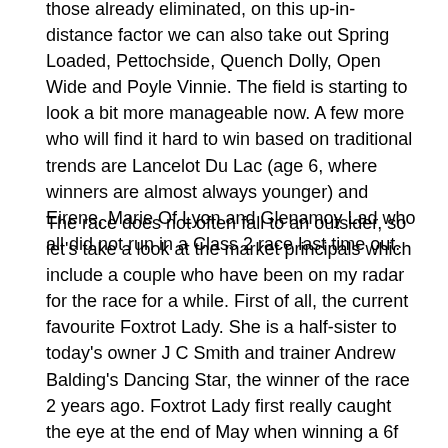those already eliminated, on this up-in-distance factor we can also take out Spring Loaded, Pettochside, Quench Dolly, Open Wide and Poyle Vinnie. The field is starting to look a bit more manageable now. A few more who will find it hard to win based on traditional trends are Lancelot Du Lac (age 6, where winners are almost always younger) and Eirene, Marie Of Lyon and Glenamoy Lad who all did not run in a Class 2 race last time out.
The race does not often fall to an outsider, so let's take a look at the market principals which include a couple who have been on my radar for the race for a while. First of all, the current favourite Foxtrot Lady. She is a half-sister to today's owner J C Smith and trainer Andrew Balding's Dancing Star, the winner of the race 2 years ago. Foxtrot Lady first really caught the eye at the end of May when winning a 6f Chester handicap by 2.5 lengths from stall 9 of 9. Given Chester's low draw bias at sprint distances, that is no mean feat. Foxtrot Lady has won again twice since then, the latest being by the minimum margin in a 6f Class 2 handicap at the recent Newmarket July Festival. She is also a 3 year-old, and whilst there have not been too many of that age in the race